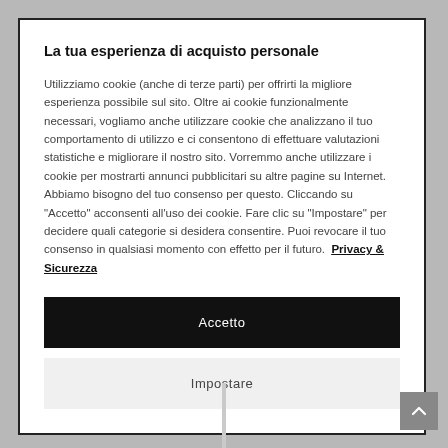La tua esperienza di acquisto personale
Utilizziamo cookie (anche di terze parti) per offrirti la migliore esperienza possibile sul sito. Oltre ai cookie funzionalmente necessari, vogliamo anche utilizzare cookie che analizzano il tuo comportamento di utilizzo e ci consentono di effettuare valutazioni statistiche e migliorare il nostro sito. Vorremmo anche utilizzare i cookie per mostrarti annunci pubblicitari su altre pagine su Internet. Abbiamo bisogno del tuo consenso per questo. Cliccando su "Accetto" acconsenti all'uso dei cookie. Fare clic su "Impostare" per decidere quali categorie si desidera consentire. Puoi revocare il tuo consenso in qualsiasi momento con effetto per il futuro. Privacy & Sicurezza